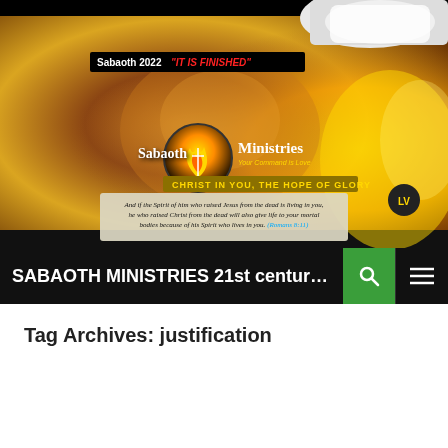[Figure (illustration): Sabaoth Ministries website banner with warm golden/brown cosmic background, hands in white gloves at top right, 'Sabaoth 2022 IT IS FINISHED' text box, circular ministry logo with flame, 'Sabaoth Ministries' text, 'CHRIST IN YOU, THE HOPE OF GLORY' banner, and scripture quote from Romans 8:11]
SABAOTH MINISTRIES 21st century Ro...
Tag Archives: justification